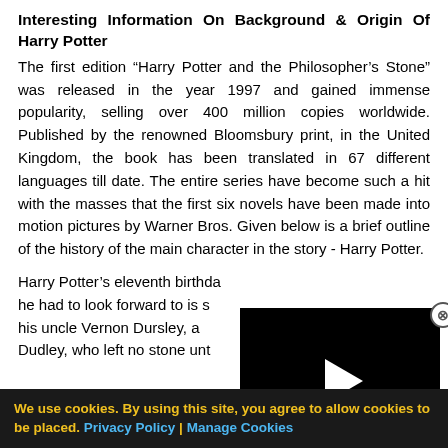Interesting Information On Background & Origin Of Harry Potter
The first edition “Harry Potter and the Philosopher’s Stone” was released in the year 1997 and gained immense popularity, selling over 400 million copies worldwide. Published by the renowned Bloomsbury print, in the United Kingdom, the book has been translated in 67 different languages till date. The entire series have become such a hit with the masses that the first six novels have been made into motion pictures by Warner Bros. Given below is a brief outline of the history of the main character in the story - Harry Potter.
Harry Potter’s eleventh birthda... he had to look forward to is s... his uncle Vernon Dursley, a... Dudley, who left no stone unt...
[Figure (screenshot): Video player overlay with black background and white play button triangle]
We use cookies. By using this site, you agree to allow cookies to be placed. Privacy Policy | Manage Cookies